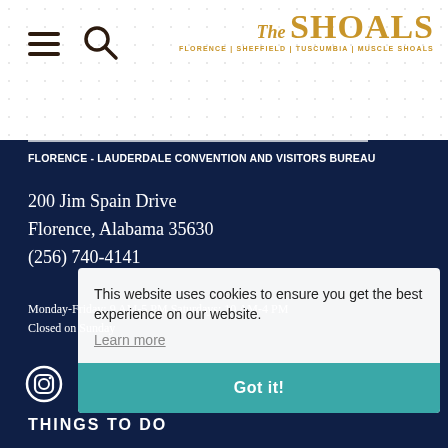[Figure (logo): The Shoals logo with text 'The SHOALS' in gold/amber color and subtitle 'FLORENCE | SHEFFIELD | TUSCUMBIA | MUSCLE SHOALS']
FLORENCE - LAUDERDALE CONVENTION AND VISITORS BUREAU
200 Jim Spain Drive
Florence, Alabama 35630
(256) 740-4141
Monday-Friday: 9 AM-5 PM Saturdays: 10 AM-4 PM
Closed on Sunday
[Figure (screenshot): Cookie consent banner overlay: 'This website uses cookies to ensure you get the best experience on our website. Learn more' with a teal 'Got it!' button]
[Figure (illustration): Social media icons: Instagram, Facebook, Twitter, YouTube]
THINGS TO DO